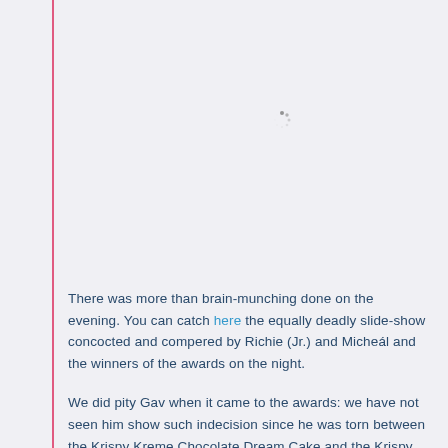[Figure (other): Loading spinner icon — small circular spinner graphic in gray]
There was more than brain-munching done on the evening. You can catch here the equally deadly slide-show concocted and compered by Richie (Jr.) and Micheál and the winners of the awards on the night.
We did pity Gav when it came to the awards: we have not seen him show such indecision since he was torn between the Krispy Kreme Chocolate Dream Cake and the Krispy